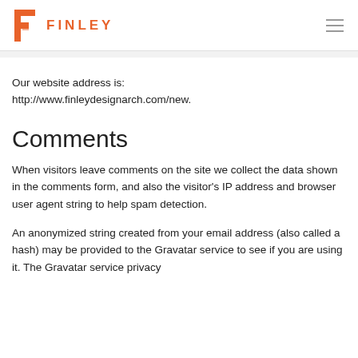FINLEY
Our website address is: http://www.finleydesignarch.com/new.
Comments
When visitors leave comments on the site we collect the data shown in the comments form, and also the visitor's IP address and browser user agent string to help spam detection.
An anonymized string created from your email address (also called a hash) may be provided to the Gravatar service to see if you are using it. The Gravatar service privacy